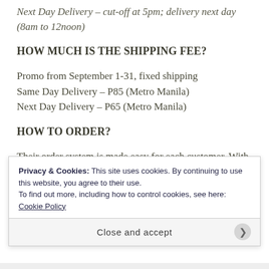Next Day Delivery – cut-off at 5pm; delivery next day (8am to 12noon)
HOW MUCH IS THE SHIPPING FEE?
Promo from September 1-31, fixed shipping
Same Day Delivery – P85 (Metro Manila)
Next Day Delivery – P65 (Metro Manila)
HOW TO ORDER?
Their order system is made easy for each customer. With just a few clicks, you can quickly
Privacy & Cookies: This site uses cookies. By continuing to use this website, you agree to their use.
To find out more, including how to control cookies, see here:
Cookie Policy
Close and accept